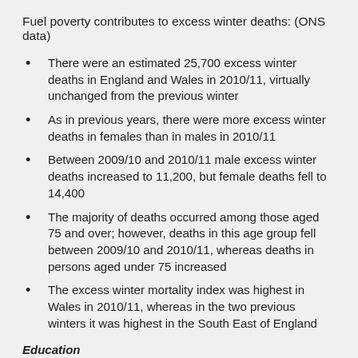Fuel poverty contributes to excess winter deaths: (ONS data)
There were an estimated 25,700 excess winter deaths in England and Wales in 2010/11, virtually unchanged from the previous winter
As in previous years, there were more excess winter deaths in females than in males in 2010/11
Between 2009/10 and 2010/11 male excess winter deaths increased to 11,200, but female deaths fell to 14,400
The majority of deaths occurred among those aged 75 and over; however, deaths in this age group fell between 2009/10 and 2010/11, whereas deaths in persons aged under 75 increased
The excess winter mortality index was highest in Wales in 2010/11, whereas in the two previous winters it was highest in the South East of England
Education